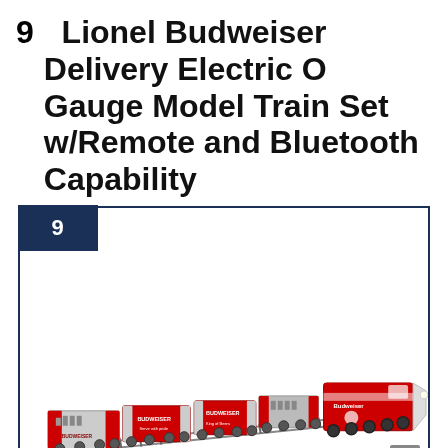9   Lionel Budweiser Delivery Electric O Gauge Model Train Set w/Remote and Bluetooth Capability
[Figure (photo): Product listing card with number badge '9' in dark navy blue in upper left corner, and a photo of a Lionel Budweiser model train set displayed on tracks. The train is red and silver with multiple freight cars and a locomotive, branded with Budweiser livery.]